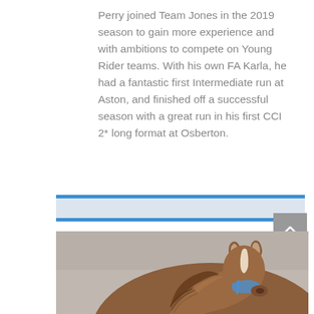Perry joined Team Jones in the 2019 season to gain more experience and with ambitions to compete on Young Rider teams. With his own FA Karla, he had a fantastic first Intermediate run at Aston, and finished off a successful season with a great run in his first CCI 2* long format at Osberton.
[Figure (photo): A chestnut horse photographed from behind/above, showing its neck, mane, and ears against a light grey concrete wall background. A blue halter/headcollar is partially visible.]